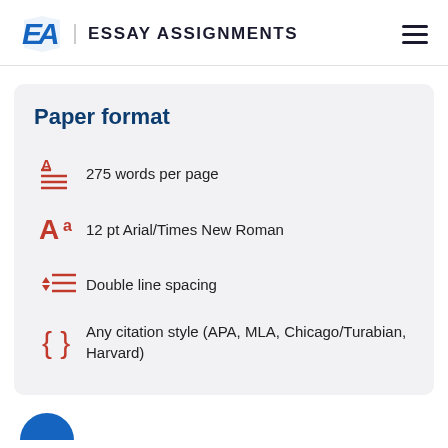EA | ESSAY ASSIGNMENTS
Paper format
275 words per page
12 pt Arial/Times New Roman
Double line spacing
Any citation style (APA, MLA, Chicago/Turabian, Harvard)